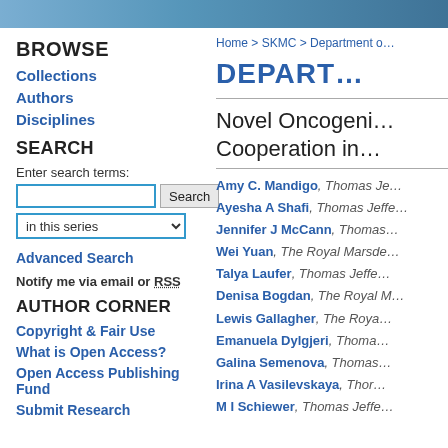[Figure (photo): Header image with blue tones, likely a photo banner of people or campus]
BROWSE
Collections
Authors
Disciplines
SEARCH
Enter search terms:
in this series (dropdown)
Advanced Search
Notify me via email or RSS
AUTHOR CORNER
Copyright & Fair Use
What is Open Access?
Open Access Publishing Fund
Submit Research
Home > SKMC > Department o...
DEPART...
Novel Oncogeni... Cooperation in...
Amy C. Mandigo, Thomas Je...
Ayesha A Shafi, Thomas Jeffe...
Jennifer J McCann, Thomas...
Wei Yuan, The Royal Marsde...
Talya Laufer, Thomas Jeffe...
Denisa Bogdan, The Royal M...
Lewis Gallagher, The Roya...
Emanuela Dylgjeri, Thoma...
Galina Semenova, Thomas...
Irina A Vasilevskaya, Thor...
M I Schiewer, Thomas Jeffe...